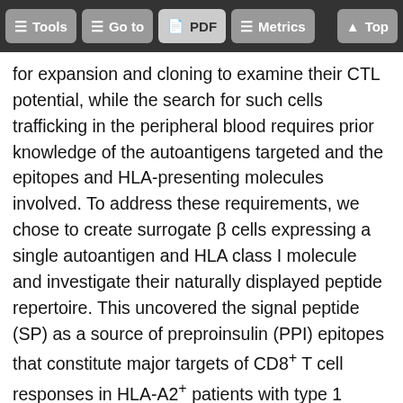Tools | Go to | PDF | Metrics | Top
for expansion and cloning to examine their CTL potential, while the search for such cells trafficking in the peripheral blood requires prior knowledge of the autoantigens targeted and the epitopes and HLA-presenting molecules involved. To address these requirements, we chose to create surrogate β cells expressing a single autoantigen and HLA class I molecule and investigate their naturally displayed peptide repertoire. This uncovered the signal peptide (SP) as a source of preproinsulin (PPI) epitopes that constitute major targets of CD8+ T cell responses in HLA-A2+ patients with type 1 diabetes. We show that expanded clones of PPI SP–specific CD8+ T cells kill human HLA-A2–expressing β cells in vitro, especially when β cells are exposed to high glucose concentrations. It has long been speculated that β